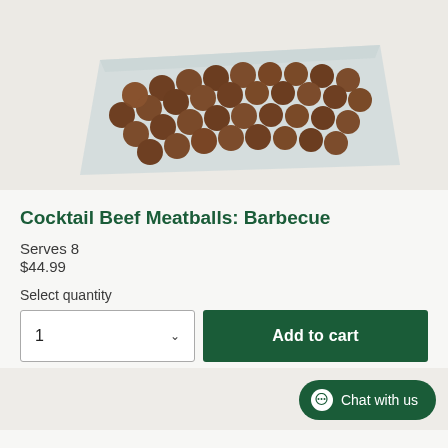[Figure (photo): A white rectangular plate/tray covered with many small round cocktail beef meatballs, arranged densely, photographed from a slight overhead angle against a light background.]
Cocktail Beef Meatballs: Barbecue
Serves 8
$44.99
Select quantity
Add to cart
Chat with us